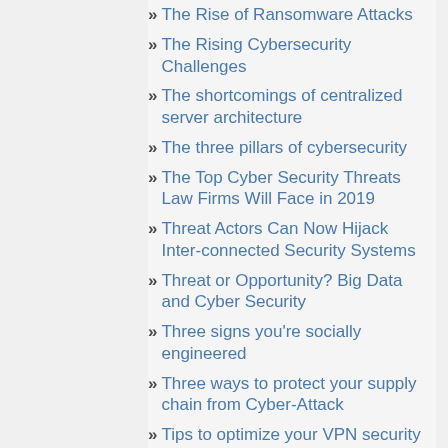The Rise of Ransomware Attacks
The Rising Cybersecurity Challenges
The shortcomings of centralized server architecture
The three pillars of cybersecurity
The Top Cyber Security Threats Law Firms Will Face in 2019
Threat Actors Can Now Hijack Interconnected Security Systems
Threat or Opportunity? Big Data and Cyber Security
Three signs you're socially engineered
Three ways to protect your supply chain from Cyber-Attack
Tips to optimize your VPN security
To Outsource or Not to Outsource Cyber Security
Top 3 Criminal Methods of Using Artificial Intelligence for Cyber Attacks